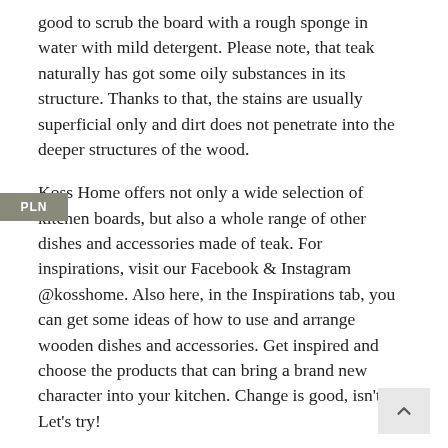good to scrub the board with a rough sponge in water with mild detergent. Please note, that teak naturally has got some oily substances in its structure. Thanks to that, the stains are usually superficial only and dirt does not penetrate into the deeper structures of the wood.
Koss Home offers not only a wide selection of kitchen boards, but also a whole range of other dishes and accessories made of teak. For inspirations, visit our Facebook & Instagram @kosshome. Also here, in the Inspirations tab, you can get some ideas of how to use and arrange wooden dishes and accessories. Get inspired and choose the products that can bring a brand new character into your kitchen. Change is good, isn't it? Let's try!